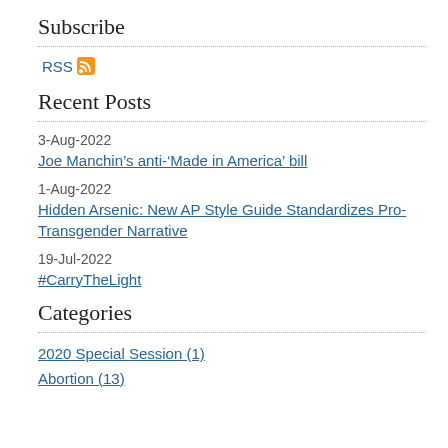Subscribe
[Figure (other): RSS feed icon with link labeled RSS]
Recent Posts
3-Aug-2022
Joe Manchin’s anti-‘Made in America’ bill
1-Aug-2022
Hidden Arsenic: New AP Style Guide Standardizes Pro-Transgender Narrative
19-Jul-2022
#CarryTheLight
Categories
2020 Special Session (1)
Abortion (13)